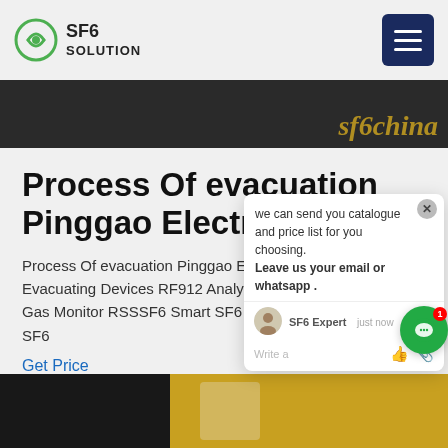SF6 SOLUTION
[Figure (screenshot): Dark image strip with 'sf6china' text in gold italic on the right side]
Process Of evacuation Pinggao Electric
Process Of evacuation Pinggao Electric Refilling Evacuating Devices RF912 Analyzer NA1013 SF6 Gas Monitor RSSSF6 Smart SF6 Sensor RF300 Cart SF6
Get Price
[Figure (screenshot): Chat popup widget showing message: 'we can send you catalogue and price list for you choosing. Leave us your email or whatsapp.' with SF6 Expert agent and just now timestamp, write a message input area with like and attachment icons]
[Figure (screenshot): Bottom image strip showing yellow construction equipment/vehicle]